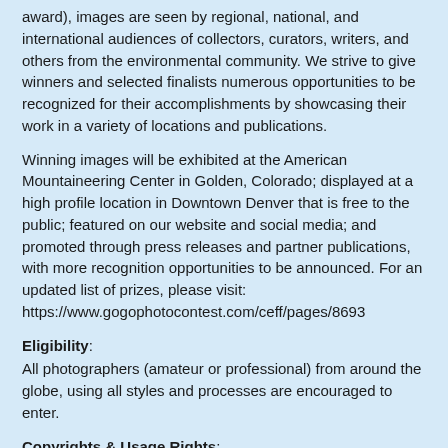award), images are seen by regional, national, and international audiences of collectors, curators, writers, and others from the environmental community. We strive to give winners and selected finalists numerous opportunities to be recognized for their accomplishments by showcasing their work in a variety of locations and publications.
Winning images will be exhibited at the American Mountaineering Center in Golden, Colorado; displayed at a high profile location in Downtown Denver that is free to the public; featured on our website and social media; and promoted through press releases and partner publications, with more recognition opportunities to be announced. For an updated list of prizes, please visit: https://www.gogophotocontest.com/ceff/pages/8693
Eligibility:
All photographers (amateur or professional) from around the globe, using all styles and processes are encouraged to enter.
Copyrights & Usage Rights:
As a contest entrant (or the parent or guardian for the Youth Division), you retain ownership over or rights to the content that you submit to us. Such content may include, but is not limited to photographs, video, text, audio and other materials. By submitting content to the contest, you grant CEFF, its directors, officers, employees, representatives, volunteers, and